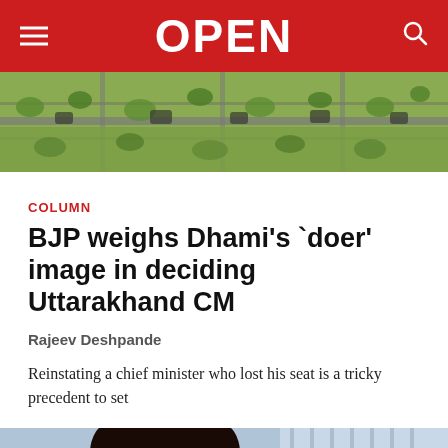OPEN
[Figure (photo): Aerial view of a green landscape with roads and structures]
COLUMN
BJP weighs Dhami's `doer' image in deciding Uttarakhand CM
Rajeev Deshpande
Reinstating a chief minister who lost his seat is a tricky precedent to set
[Figure (photo): Portrait photo of a person, partially visible from the top]